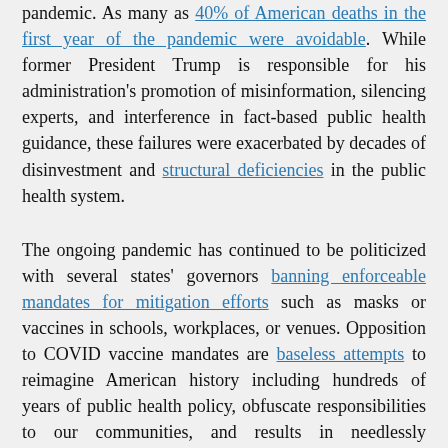pandemic. As many as 40% of American deaths in the first year of the pandemic were avoidable. While former President Trump is responsible for his administration's promotion of misinformation, silencing experts, and interference in fact-based public health guidance, these failures were exacerbated by decades of disinvestment and structural deficiencies in the public health system.
The ongoing pandemic has continued to be politicized with several states' governors banning enforceable mandates for mitigation efforts such as masks or vaccines in schools, workplaces, or venues. Opposition to COVID vaccine mandates are baseless attempts to reimagine American history including hundreds of years of public health policy, obfuscate responsibilities to our communities, and results in needlessly prolonging the pandemic. Nearly all COVID deaths in the U.S. since May 2021 have been preventable due to the availability of vaccines.